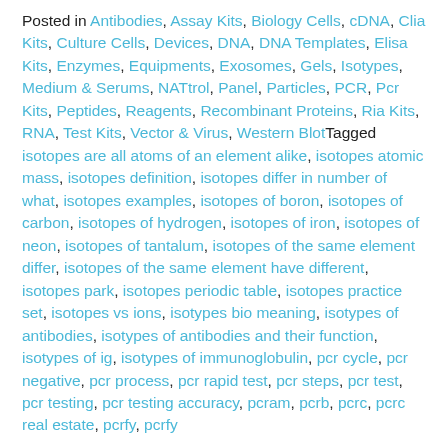Posted in Antibodies, Assay Kits, Biology Cells, cDNA, Clia Kits, Culture Cells, Devices, DNA, DNA Templates, Elisa Kits, Enzymes, Equipments, Exosomes, Gels, Isotypes, Medium & Serums, NATtrol, Panel, Particles, PCR, Pcr Kits, Peptides, Reagents, Recombinant Proteins, Ria Kits, RNA, Test Kits, Vector & Virus, Western BlotTagged isotopes are all atoms of an element alike, isotopes atomic mass, isotopes definition, isotopes differ in number of what, isotopes examples, isotopes of boron, isotopes of carbon, isotopes of hydrogen, isotopes of iron, isotopes of neon, isotopes of tantalum, isotopes of the same element differ, isotopes of the same element have different, isotopes park, isotopes periodic table, isotopes practice set, isotopes vs ions, isotypes bio meaning, isotypes of antibodies, isotypes of antibodies and their function, isotypes of ig, isotypes of immunoglobulin, pcr cycle, pcr negative, pcr process, pcr rapid test, pcr steps, pcr test, pcr testing, pcr testing accuracy, pcram, pcrb, pcrc, pcrc real estate, pcrfy, pcrfy